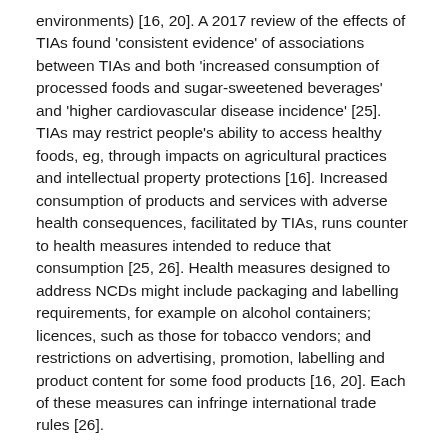environments) [16, 20]. A 2017 review of the effects of TIAs found 'consistent evidence' of associations between TIAs and both 'increased consumption of processed foods and sugar-sweetened beverages' and 'higher cardiovascular disease incidence' [25]. TIAs may restrict people's ability to access healthy foods, eg, through impacts on agricultural practices and intellectual property protections [16]. Increased consumption of products and services with adverse health consequences, facilitated by TIAs, runs counter to health measures intended to reduce that consumption [25, 26]. Health measures designed to address NCDs might include packaging and labelling requirements, for example on alcohol containers; licences, such as those for tobacco vendors; and restrictions on advertising, promotion, labelling and product content for some food products [16, 20]. Each of these measures can infringe international trade rules [26].
The wider context of trade and investment related agreements